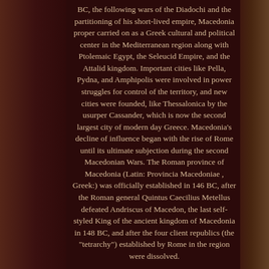BC, the following wars of the Diadochi and the partitioning of his short-lived empire, Macedonia proper carried on as a Greek cultural and political center in the Mediterranean region along with Ptolemaic Egypt, the Seleucid Empire, and the Attalid kingdom. Important cities like Pella, Pydna, and Amphipolis were involved in power struggles for control of the territory, and new cities were founded, like Thessalonica by the usurper Cassander, which is now the second largest city of modern day Greece. Macedonia's decline of influence began with the rise of Rome until its ultimate subjection during the second Macedonian Wars. The Roman province of Macedonia (Latin: Provincia Macedoniae , Greek:) was officially established in 146 BC, after the Roman general Quintus Caecilius Metellus defeated Andriscus of Macedon, the last self-styled King of the ancient kingdom of Macedonia in 148 BC, and after the four client republics (the "tetrarchy") established by Rome in the region were dissolved.
The province incorporated ancient Macedonia, with the addition of Epirus, Thessaly, and parts of Illyria, Paeonia and Thrace. This created a much larger administrative area, to which the name of 'Macedonia'